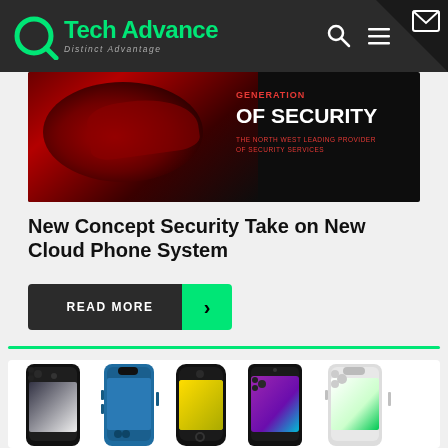Tech Advance – Distinct Advantage
[Figure (screenshot): Dark banner ad showing red and dark background with cars, text: GENERATION OF SECURITY – THE NORTH WEST LEADING PROVIDER OF SECURITY SERVICES]
New Concept Security Take on New Cloud Phone System
READ MORE
[Figure (photo): Row of five smartphones: Samsung Galaxy S21, iPhone 13 blue, iPhone SE, Samsung Galaxy A32, iPhone 13 Pro white/green]